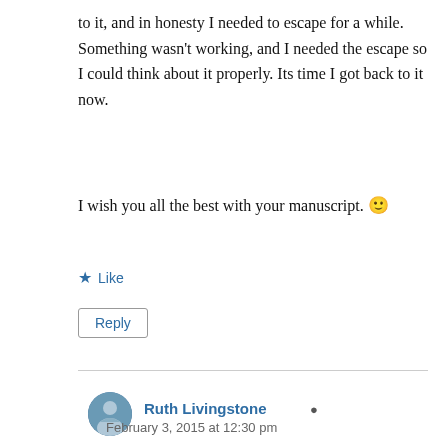to it, and in honesty I needed to escape for a while. Something wasn't working, and I needed the escape so I could think about it properly. Its time I got back to it now.
I wish you all the best with your manuscript. 🙂
★ Like
Reply
Ruth Livingstone
February 3, 2015 at 12:30 pm
Thanks Maria and hope you are making progress